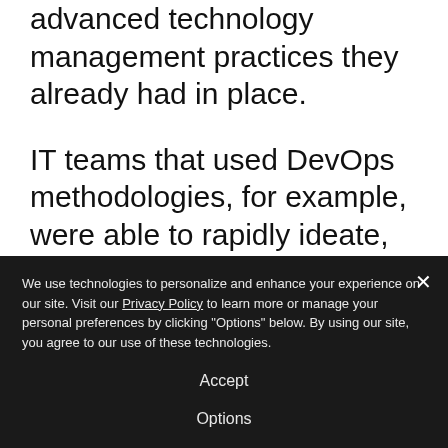advanced technology management practices they already had in place.

IT teams that used DevOps methodologies, for example, were able to rapidly ideate, test and deploy the technology solutions their companies needed to keep business humming in a suddenly different world. At the same time, they had already automated much
We use technologies to personalize and enhance your experience on our site. Visit our Privacy Policy to learn more or manage your personal preferences by clicking "Options" below. By using our site, you agree to our use of these technologies.
Accept
Options